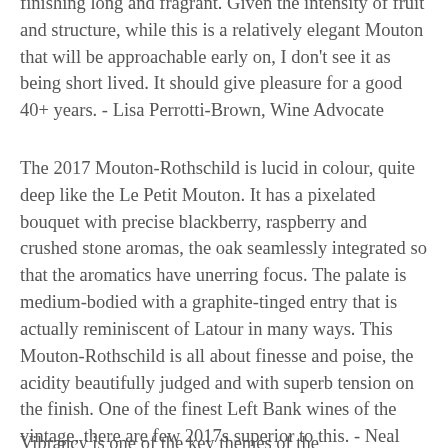finishing long and fragrant. Given the intensity of fruit and structure, while this is a relatively elegant Mouton that will be approachable early on, I don't see it as being short lived. It should give pleasure for a good 40+ years. - Lisa Perrotti-Brown, Wine Advocate
The 2017 Mouton-Rothschild is lucid in colour, quite deep like the Le Petit Mouton. It has a pixelated bouquet with precise blackberry, raspberry and crushed stone aromas, the oak seamlessly integrated so that the aromatics have unerring focus. The palate is medium-bodied with a graphite-tinged entry that is actually reminiscent of Latour in many ways. This Mouton-Rothschild is all about finesse and poise, the acidity beautifully judged and with superb tension on the finish. One of the finest Left Bank wines of the vintage, there are few 2017s superior to this. - Neal Martin, Vinous Media
Vibrancy is one of the key themes of the